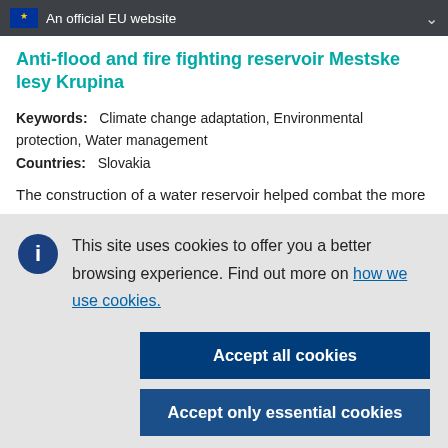An official EU website
Anti-flood and fire fighting reservoir Mestske lesy Krupina
Keywords:   Climate change adaptation, Environmental protection, Water management
Countries:   Slovakia
The construction of a water reservoir helped combat the more
This site uses cookies to offer you a better browsing experience. Find out more on how we use cookies.
Accept all cookies
Accept only essential cookies